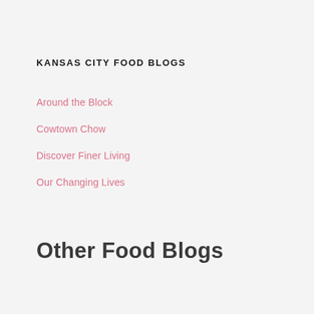KANSAS CITY FOOD BLOGS
Around the Block
Cowtown Chow
Discover Finer Living
Our Changing Lives
Other Food Blogs